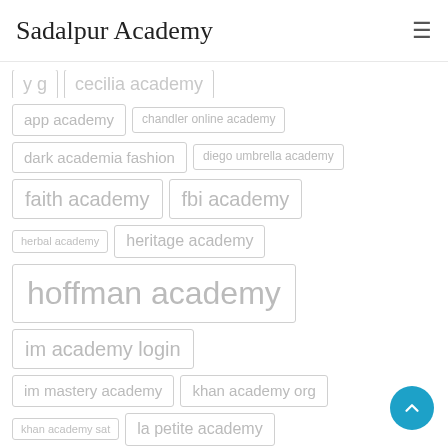Sadalpur Academy
app academy
chandler online academy
dark academia fashion
diego umbrella academy
faith academy
fbi academy
herbal academy
heritage academy
hoffman academy
im academy login
im mastery academy
khan academy org
khan academy sat
la petite academy
light academia